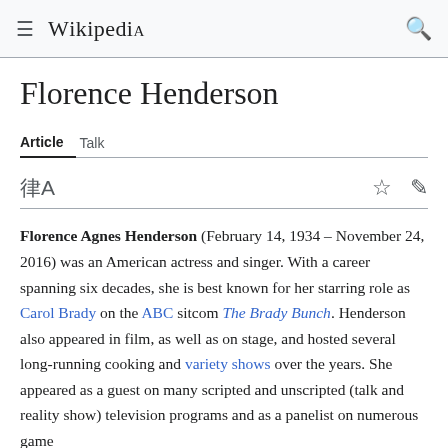≡ WIKIPEDIA 🔍
Florence Henderson
Article   Talk
Florence Agnes Henderson (February 14, 1934 – November 24, 2016) was an American actress and singer. With a career spanning six decades, she is best known for her starring role as Carol Brady on the ABC sitcom The Brady Bunch. Henderson also appeared in film, as well as on stage, and hosted several long-running cooking and variety shows over the years. She appeared as a guest on many scripted and unscripted (talk and reality show) television programs and as a panelist on numerous game